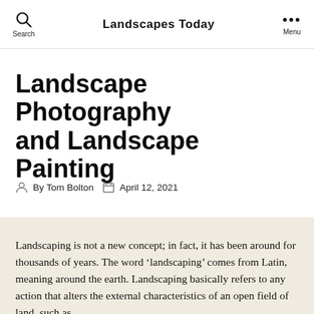Landscapes Today
Landscape Photography and Landscape Painting
By Tom Bolton   April 12, 2021
Landscaping is not a new concept; in fact, it has been around for thousands of years. The word ‘landscaping’ comes from Latin, meaning around the earth. Landscaping basically refers to any action that alters the external characteristics of an open field of land, such as...